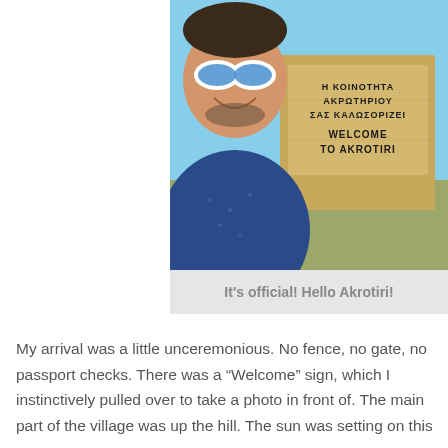[Figure (photo): A man wearing white sunglasses and a blue patterned shirt takes a selfie in front of a stone welcome sign that reads in Greek and English: Η ΚΟΙΝΟΤΗΤΑ ΑΚΡΩΤΗΡΙΟΥ ΣΑΣ ΚΑΛΩΣΟΡΙΖΕΙ / WELCOME TO AKROTIRI. Blue sky in background.]
It's official! Hello Akrotiri!
My arrival was a little unceremonious. No fence, no gate, no passport checks. There was a “Welcome” sign, which I instinctively pulled over to take a photo in front of. The main part of the village was up the hill. The sun was setting on this